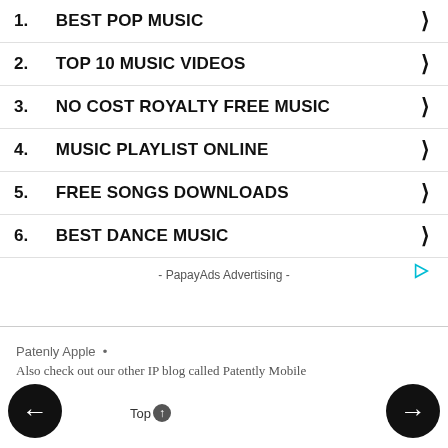1. BEST POP MUSIC
2. TOP 10 MUSIC VIDEOS
3. NO COST ROYALTY FREE MUSIC
4. MUSIC PLAYLIST ONLINE
5. FREE SONGS DOWNLOADS
6. BEST DANCE MUSIC
- PapayAds Advertising -
Patenly Apple  •
Also check out our other IP blog called Patently Mobile
Top